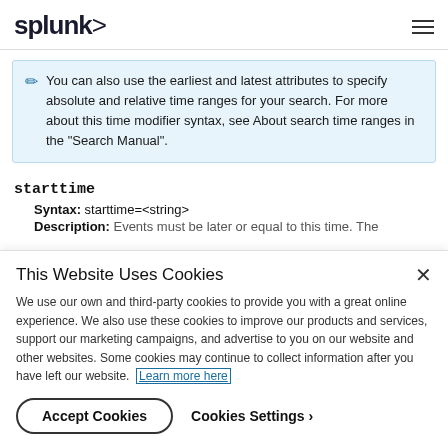splunk>
You can also use the earliest and latest attributes to specify absolute and relative time ranges for your search. For more about this time modifier syntax, see About search time ranges in the "Search Manual".
starttime
Syntax: starttime=<string>
Description: Events must be later or equal to this time. The
This Website Uses Cookies
We use our own and third-party cookies to provide you with a great online experience. We also use these cookies to improve our products and services, support our marketing campaigns, and advertise to you on our website and other websites. Some cookies may continue to collect information after you have left our website. Learn more here
Accept Cookies
Cookies Settings ›